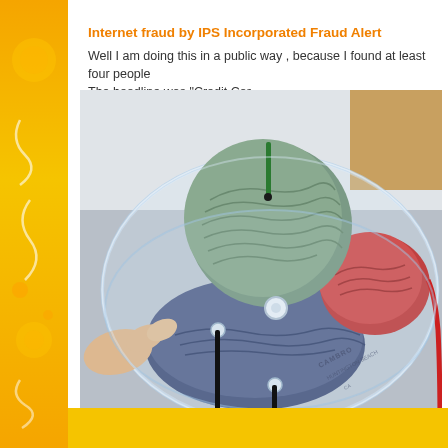Internet fraud by IPS Incorporated Fraud Alert
Well I am doing this in a public way , because I found at least four people The headline was "Credit Car...
[Figure (photo): A hand-held transparent plastic container (Cambro brand) lid with multiple holes punched in it. Through the holes thread several yarn strands: a large ball of grey-green yarn on top, a red yarn ball visible on the right inside the container, blue/dark yarn below, and black cords coming through the bottom holes. The setup appears to be a DIY yarn bowl or organizer.]